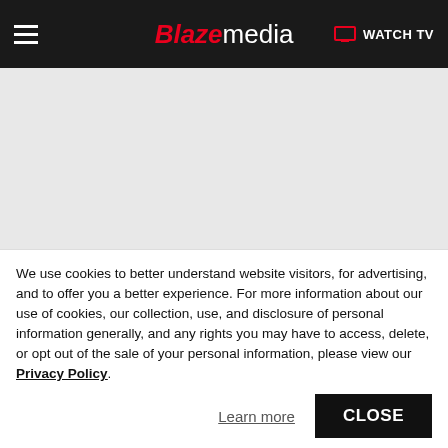Blaze media — WATCH TV
[Figure (other): Advertisement placeholder area, light gray background]
Blaze Media / Faith
Islamists Issue Dire Facebook Warning: 'Eating Tomatoes Is Forbidden Because They Are
We use cookies to better understand website visitors, for advertising, and to offer you a better experience. For more information about our use of cookies, our collection, use, and disclosure of personal information generally, and any rights you may have to access, delete, or opt out of the sale of your personal information, please view our Privacy Policy.
Learn more
CLOSE